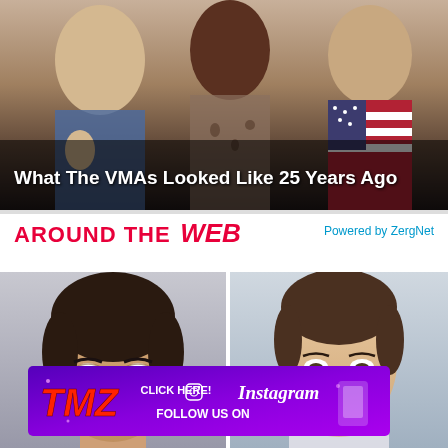[Figure (photo): Group photo of people at the VMAs 25 years ago with text overlay]
What The VMAs Looked Like 25 Years Ago
AROUND THE WEB
Powered by ZergNet
[Figure (photo): Close-up photo of a woman with short dark hair]
[Figure (photo): Close-up photo of a young man]
[Figure (advertisement): TMZ Instagram advertisement banner — Click Here! Follow Us On Instagram]